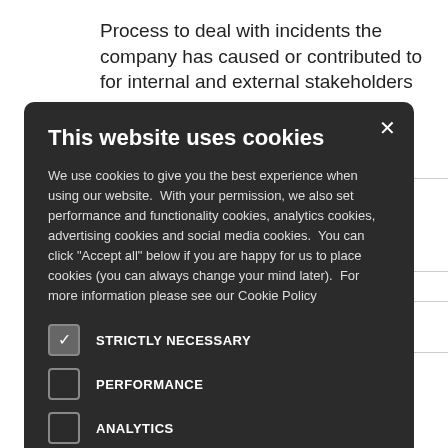Process to deal with incidents the company has caused or contributed to for internal and external stakeholders
ate, accessible, s-compatible, a ed on 4)
ctices
tive ne human
ctivities that the COP to fulfill metrics, and
[Figure (screenshot): Cookie consent modal popup with dark background. Title: 'This website uses cookies'. Body text explaining cookie usage. Five cookie options with checkboxes: STRICTLY NECESSARY (checked), PERFORMANCE (unchecked), ANALYTICS (unchecked), FUNCTIONALITY (unchecked), SOCIAL MEDIA (unchecked). Close button (X) in top right corner.]